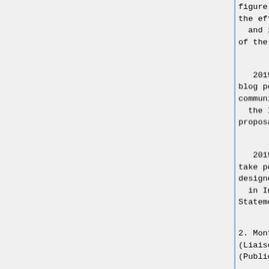figure out how to measure the effectiveness
  and impact of the work of the IETF.
2019-05-17: Ted to write blog post inviting the community to come to
  the IAB with new work proposal.
2019-02-06: Melinda to take pen on protocol designer version of "Trust
  in Internet Entities"
Statement.
2. Monthly Reports
(Liaison) - 5 mins
(Public)
2.1. ISOC Liaison Report
2.2. IRTF Chair Report